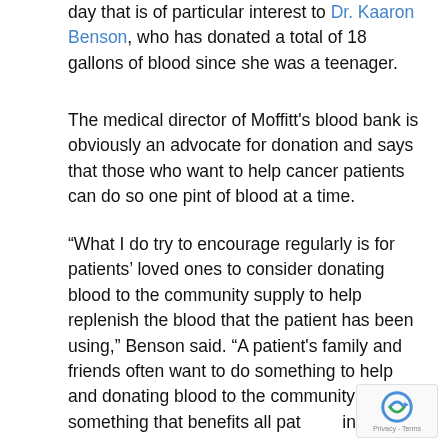day that is of particular interest to Dr. Kaaron Benson, who has donated a total of 18 gallons of blood since she was a teenager.
The medical director of Moffitt's blood bank is obviously an advocate for donation and says that those who want to help cancer patients can do so one pint of blood at a time.
“What I do try to encourage regularly is for patients’ loved ones to consider donating blood to the community supply to help replenish the blood that the patient has been using,” Benson said. “A patient's family and friends often want to do something to help and donating blood to the community is something that benefits all patients in need.”